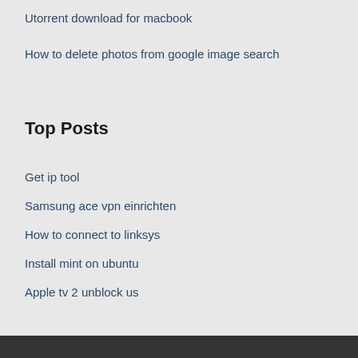Utorrent download for macbook
How to delete photos from google image search
Top Posts
Get ip tool
Samsung ace vpn einrichten
How to connect to linksys
Install mint on ubuntu
Apple tv 2 unblock us